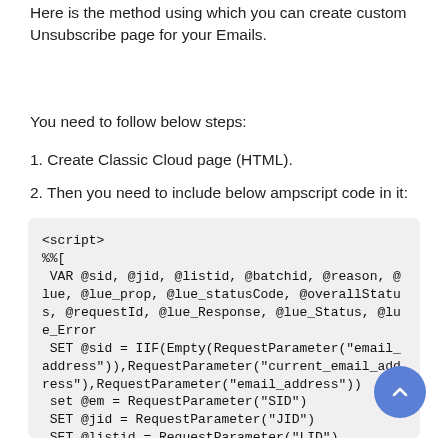Here is the method using which you can create custom Unsubscribe page for your Emails.
You need to follow below steps:
1. Create Classic Cloud page (HTML).
2. Then you need to include below ampscript code in it:
<script>
%%[
 VAR @sid, @jid, @listid, @batchid, @reason, @lue, @lue_prop, @lue_statusCode, @overallStatus, @requestId, @lue_Response, @lue_Status, @lue_Error
 SET @sid = IIF(Empty(RequestParameter("email_address")),RequestParameter("current_email_address"),RequestParameter("email_address"))
 set @em = RequestParameter("SID")
 SET @jid = RequestParameter("JID")
 SET @listid = RequestParameter("LID")
 SET @batchid = RequestParameter("JSB")
 SET @reason = "Landing Page Unsubscribe"
 SET @lue = CreateObject("ExecuteRequest")